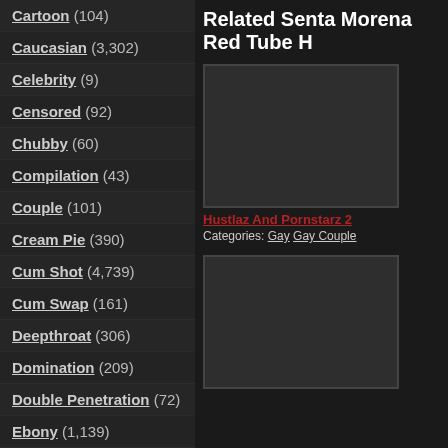Cartoon (104)
Caucasian (3,302)
Celebrity (9)
Censored (92)
Chubby (60)
Compilation (43)
Couple (101)
Cream Pie (390)
Cum Shot (4,739)
Cum Swap (161)
Deepthroat (306)
Domination (209)
Double Penetration (72)
Ebony (1,139)
Enzo & John Mayer (1)
Facial (367)
Fat (45)
Related Senta Morena Red Tube H
[Figure (screenshot): Black thumbnail placeholder for Hustlaz And Pornstarz 2]
Hustlaz And Pornstarz 2
Categories: Gay Gay Couple
[Figure (screenshot): Black thumbnail placeholder for second video]